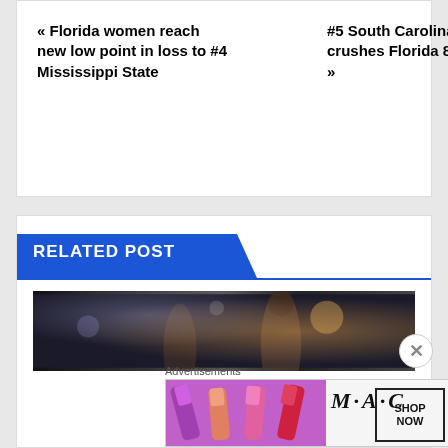« Florida women reach new low point in loss to #4 Mississippi State
#5 South Carolina crushes Florida 81-62 »
RELATED POST
[Figure (photo): Sports photo of basketball player with bokeh background]
Advertisements
[Figure (photo): MAC cosmetics advertisement showing lipsticks with SHOP NOW button]